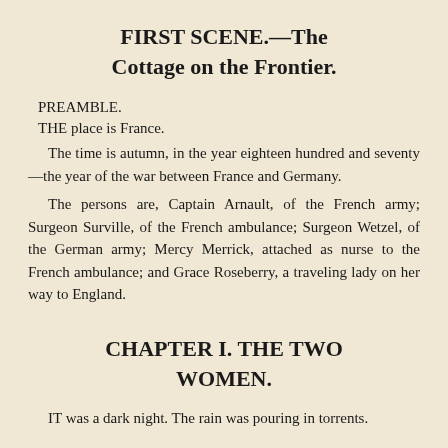FIRST SCENE.—The Cottage on the Frontier.
PREAMBLE.
THE place is France.
The time is autumn, in the year eighteen hundred and seventy—the year of the war between France and Germany.
The persons are, Captain Arnault, of the French army; Surgeon Surville, of the French ambulance; Surgeon Wetzel, of the German army; Mercy Merrick, attached as nurse to the French ambulance; and Grace Roseberry, a traveling lady on her way to England.
CHAPTER I. THE TWO WOMEN.
IT was a dark night. The rain was pouring in torrents.